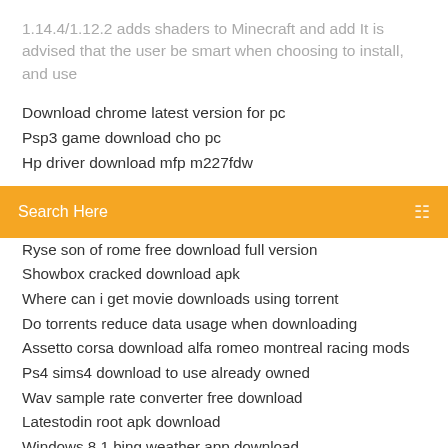1.14.4/1.12.2 adds shaders to Minecraft and add It is advised that the user be smart when choosing to install, and use
Download chrome latest version for pc
Psp3 game download cho pc
Hp driver download mfp m227fdw
[Figure (screenshot): Orange search bar with placeholder text 'Search Here' and a search icon on the right]
Ryse son of rome free download full version
Showbox cracked download apk
Where can i get movie downloads using torrent
Do torrents reduce data usage when downloading
Assetto corsa download alfa romeo montreal racing mods
Ps4 sims4 download to use already owned
Wav sample rate converter free download
Latestodin root apk download
Windows 8.1 bing weather app download
Download gateway wireless network driver
Mrmoset toolbag download torrent